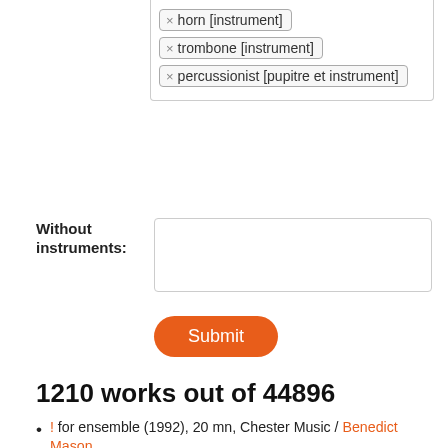[Figure (screenshot): Filter tags showing: × horn [instrument], × trombone [instrument], × percussionist [pupitre et instrument]]
Without instruments:
[Figure (screenshot): Empty text input box for 'Without instruments']
Submit
1210 works out of 44896
! for ensemble (1992), 20 mn, Chester Music / Benedict Mason
elec "...und wozu Dichter in durftiger Zeit?..." for twelve instruments and electronics (2003), 15 mn / Karim Haddad
"Ich suchte, aber ich fand ihn nicht." for ensemble (2011), 25 mn, Universal Edition / Georg Friedrich Haas
"nouvelle œuvre" for large ensemble (2010-2011), 13 mn / Torsten Herrmann
#9 for ensemble (2009-2010) [program note] / Mauro Lanza
(co)ro(na) for ensemble (2005), 9 mn, Universal Edition /